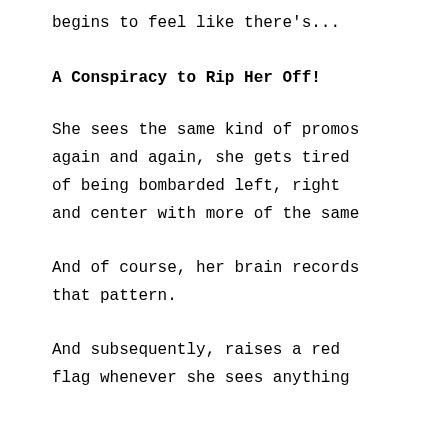begins to feel like there's...
A Conspiracy to Rip Her Off!
She sees the same kind of promos again and again, she gets tired of being bombarded left, right and center with more of the same
And of course, her brain records that pattern.
And subsequently, raises a red flag whenever she sees anything